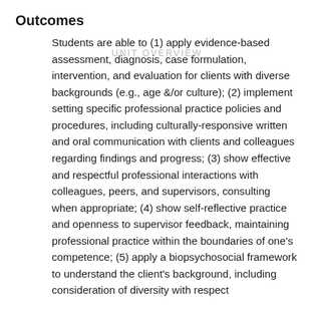Outcomes
UNIT OVERVIEW
Students are able to (1) apply evidence-based assessment, diagnosis, case formulation, intervention, and evaluation for clients with diverse backgrounds (e.g., age &/or culture); (2) implement setting specific professional practice policies and procedures, including culturally-responsive written and oral communication with clients and colleagues regarding findings and progress; (3) show effective and respectful professional interactions with colleagues, peers, and supervisors, consulting when appropriate; (4) show self-reflective practice and openness to supervisor feedback, maintaining professional practice within the boundaries of one's competence; (5) apply a biopsychosocial framework to understand the client's background, including consideration of diversity with respect